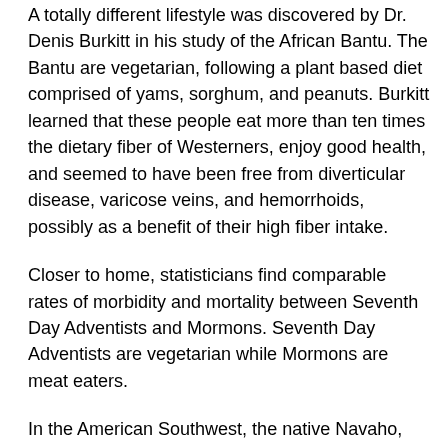A totally different lifestyle was discovered by Dr. Denis Burkitt in his study of the African Bantu. The Bantu are vegetarian, following a plant based diet comprised of yams, sorghum, and peanuts. Burkitt learned that these people eat more than ten times the dietary fiber of Westerners, enjoy good health, and seemed to have been free from diverticular disease, varicose veins, and hemorrhoids, possibly as a benefit of their high fiber intake.
Closer to home, statisticians find comparable rates of morbidity and mortality between Seventh Day Adventists and Mormons. Seventh Day Adventists are vegetarian while Mormons are meat eaters.
In the American Southwest, the native Navaho, Hopi, and Apache have eschewed their traditional diet in favor of processed American cuisine. Not coincidentally, Type 2 diabetes, hypertension, elevated blood lipids, and morbid obesity are epidemic.